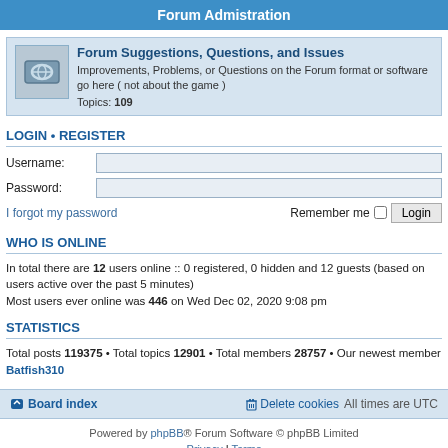Forum Admistration
Forum Suggestions, Questions, and Issues
Improvements, Problems, or Questions on the Forum format or software go here ( not about the game )
Topics: 109
LOGIN • REGISTER
Username:
Password:
I forgot my password  Remember me  Login
WHO IS ONLINE
In total there are 12 users online :: 0 registered, 0 hidden and 12 guests (based on users active over the past 5 minutes)
Most users ever online was 446 on Wed Dec 02, 2020 9:08 pm
STATISTICS
Total posts 119375 • Total topics 12901 • Total members 28757 • Our newest member Batfish310
Board index  Delete cookies  All times are UTC
Powered by phpBB® Forum Software © phpBB Limited
Privacy | Terms